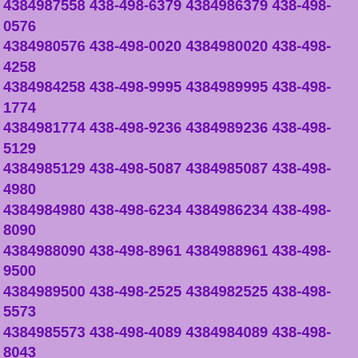4384988757 438-498-5633 4384988633 438-498-8251 4384988251 438-498-7398 4384987398 438-498-8739 4384988739 438-498-1323 4384981323 438-498-3234 4384983234 438-498-3161 4384983161 438-498-0058 4384980058 438-498-6841 4384986841 438-498-7553 4384987553 438-498-4959 4384984959 438-498-7558 4384987558 438-498-6379 4384986379 438-498-0576 4384980576 438-498-0020 4384980020 438-498-4258 4384984258 438-498-9995 4384989995 438-498-1774 4384981774 438-498-9236 4384989236 438-498-5129 4384985129 438-498-5087 4384985087 438-498-4980 4384984980 438-498-6234 4384986234 438-498-8090 4384988090 438-498-8961 4384988961 438-498-9500 4384989500 438-498-2525 4384982525 438-498-5573 4384985573 438-498-4089 4384984089 438-498-8043 4384988043 438-498-4041 4384984041 438-498-1508 4384981508 438-498-2174 4384982174 438-498-3611 4384983611 438-498-4674 4384984674 438-498-8667 4384988667 438-498-3379 4384983379 438-498-2358 4384982358 438-498-4071 4384984071 438-498-4500 4384984500 438-498-8294 4384988294 438-498-0827